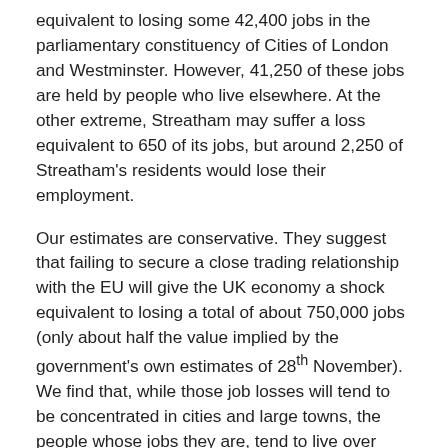equivalent to losing some 42,400 jobs in the parliamentary constituency of Cities of London and Westminster. However, 41,250 of these jobs are held by people who live elsewhere. At the other extreme, Streatham may suffer a loss equivalent to 650 of its jobs, but around 2,250 of Streatham's residents would lose their employment.
Our estimates are conservative. They suggest that failing to secure a close trading relationship with the EU will give the UK economy a shock equivalent to losing a total of about 750,000 jobs (only about half the value implied by the government's own estimates of 28th November). We find that, while those job losses will tend to be concentrated in cities and large towns, the people whose jobs they are, tend to live over much larger surrounding areas.
Presenting Brexit effects by area of residence is important because people typically spend more where they live than where they work. This means that the impact of Brexit on any constituency is captured more appropriately by studying the